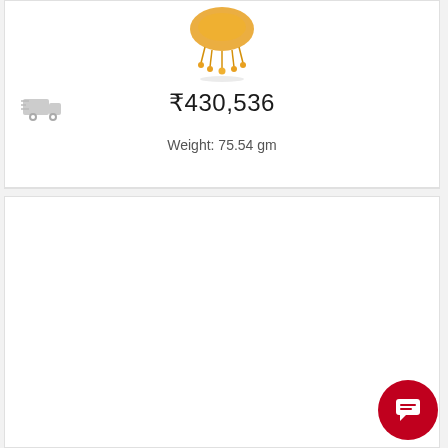[Figure (photo): Gold jewelry necklace/chandelier piece image partially visible at top]
[Figure (illustration): Delivery truck icon (gray)]
₹430,536
Weight: 75.54 gm
[Figure (illustration): Heart/wishlist icon (gray outline)]
[Figure (illustration): Loading spinner (red arc)]
[Figure (illustration): Red circular chat/support button with chat bubble icon]